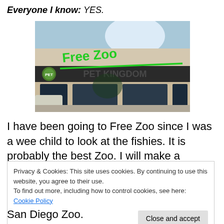Everyone I know: YES.
[Figure (photo): Photo of a pet store exterior with green handwritten text overlaid reading 'Free Zoo' and a green line crossing out the store sign 'Pet Kingdom']
I have been going to Free Zoo since I was a wee child to look at the fishies. It is probably the best Zoo. I will make a
Privacy & Cookies: This site uses cookies. By continuing to use this website, you agree to their use.
To find out more, including how to control cookies, see here: Cookie Policy
San Diego Zoo.